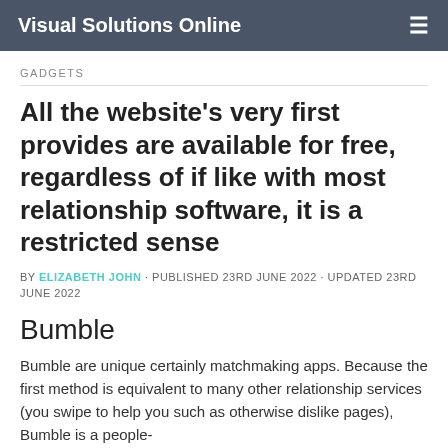Visual Solutions Online
GADGETS
All the website's very first provides are available for free, regardless of if like with most relationship software, it is a restricted sense
BY ELIZABETH JOHN · PUBLISHED 23RD JUNE 2022 · UPDATED 23RD JUNE 2022
Bumble
Bumble are unique certainly matchmaking apps. Because the first method is equivalent to many other relationship services (you swipe to help you such as otherwise dislike pages), Bumble is a people-